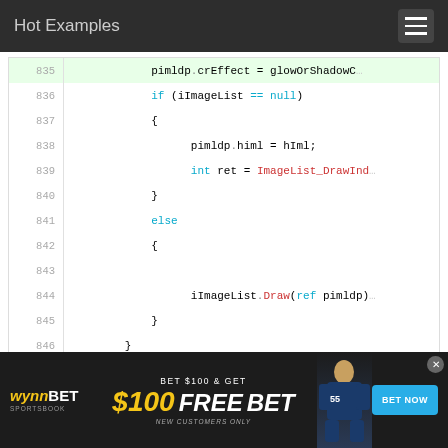Hot Examples
[Figure (screenshot): Code viewer showing lines 835-846 of C# source code with syntax highlighting. Line 835 is highlighted green. Code shows conditional logic with pimldp.crEffect, iImageList null check, pimldp.himl = hIml, ImageList_DrawInd, else branch with iImageList.Draw(ref pimldp).]
ПРИМЕР #12
[Figure (screenshot): WynnBET Sportsbook advertisement banner: BET $100 & GET $100 FREE BET, NEW CUSTOMERS ONLY, with BET NOW button]